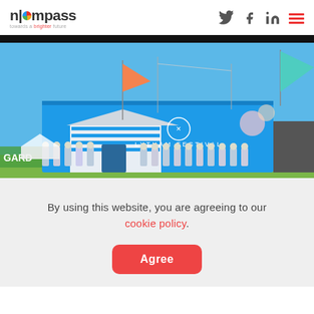n|compass towards a brighter future — navigation with Twitter, Facebook, LinkedIn icons and hamburger menu
[Figure (photo): Group photo of staff/volunteers in matching outfits standing in front of a bright blue Lytham Festival booth/structure, with colourful flags visible including orange and teal. Clear blue sky background.]
By using this website, you are agreeing to our cookie policy.
Agree